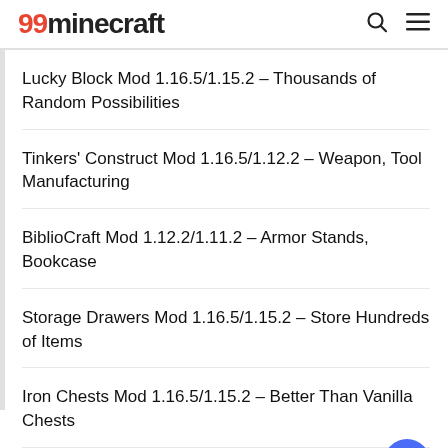99minecraft
Lucky Block Mod 1.16.5/1.15.2 – Thousands of Random Possibilities
Tinkers' Construct Mod 1.16.5/1.12.2 – Weapon, Tool Manufacturing
BiblioCraft Mod 1.12.2/1.11.2 – Armor Stands, Bookcase
Storage Drawers Mod 1.16.5/1.15.2 – Store Hundreds of Items
Iron Chests Mod 1.16.5/1.15.2 – Better Than Vanilla Chests
Extra Utilities Mod 1.12.2/1.11.2 – Plenty New Useful Tools